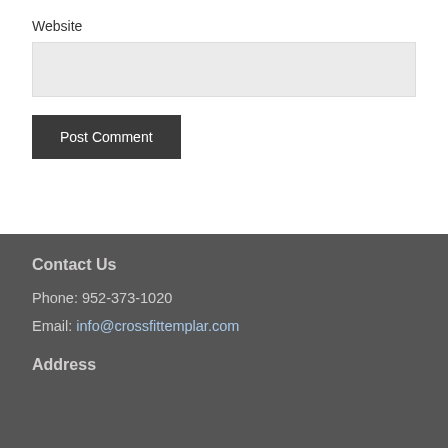Website
Post Comment
Contact Us
Phone: 952-373-1020
Email: info@crossfittemplar.com
Address